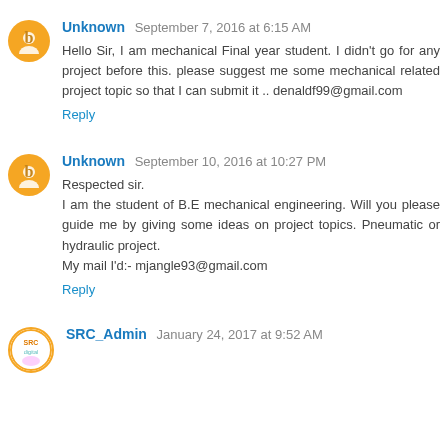Unknown September 7, 2016 at 6:15 AM
Hello Sir, I am mechanical Final year student. I didn't go for any project before this. please suggest me some mechanical related project topic so that I can submit it .. denaldf99@gmail.com
Reply
Unknown September 10, 2016 at 10:27 PM
Respected sir.
I am the student of B.E mechanical engineering. Will you please guide me by giving some ideas on project topics. Pneumatic or hydraulic project.
My mail I'd:- mjangle93@gmail.com
Reply
SRC_Admin January 24, 2017 at 9:52 AM